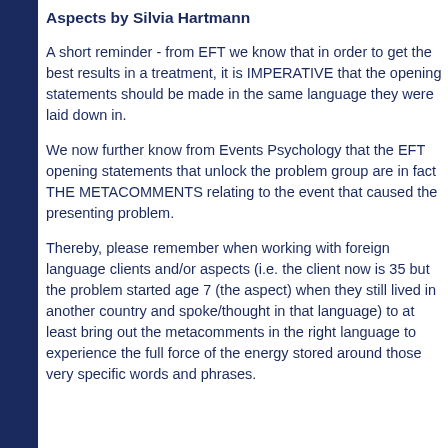Aspects by Silvia Hartmann
A short reminder - from EFT we know that in order to get the best results in a treatment, it is IMPERATIVE that the opening statements should be made in the same language they were laid down in.
We now further know from Events Psychology that the EFT opening statements that unlock the problem group are in fact THE METACOMMENTS relating to the event that caused the presenting problem.
Thereby, please remember when working with foreign language clients and/or aspects (i.e. the client now is 35 but the problem started age 7 (the aspect) when they still lived in another country and spoke/thought in that language) to at least bring out the metacomments in the right language to experience the full force of the energy stored around those very specific words and phrases.